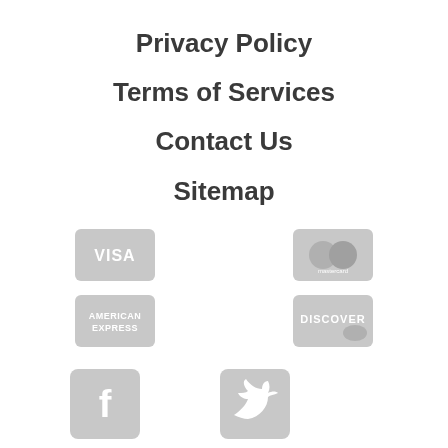Privacy Policy
Terms of Services
Contact Us
Sitemap
[Figure (logo): Visa payment card logo icon, grey rounded rectangle]
[Figure (logo): Mastercard payment logo icon, grey rounded rectangle with overlapping circles]
[Figure (logo): American Express payment logo icon, grey rounded rectangle]
[Figure (logo): Discover payment logo icon, grey rounded rectangle]
[Figure (logo): Facebook social media icon, grey rounded square with f logo]
[Figure (logo): Twitter social media icon, grey rounded square with bird logo]